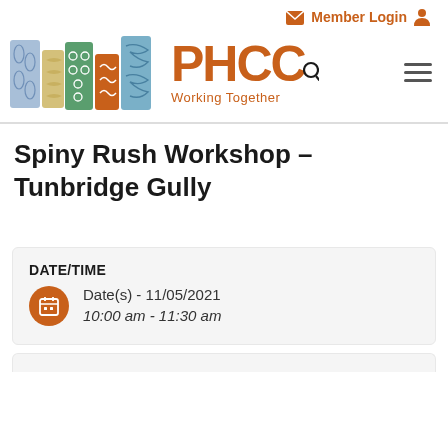Member Login
[Figure (logo): PHCC Working Together logo with colourful illustrated tiles]
Spiny Rush Workshop – Tunbridge Gully
| DATE/TIME |
| --- |
| Date(s) - 11/05/2021 |
| 10:00 am - 11:30 am |